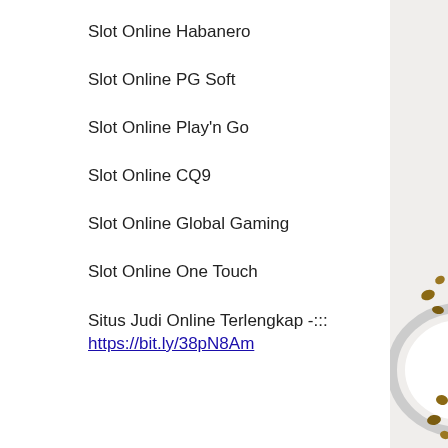Slot Online Habanero
Slot Online PG Soft
Slot Online Play'n Go
Slot Online CQ9
Slot Online Global Gaming
Slot Online One Touch
Situs Judi Online Terlengkap -::: https://bit.ly/38pN8Am
[Figure (photo): Partial view of a white plate with nuts/hazelnuts scattered around it, on a light background, visible on the right edge of the page]